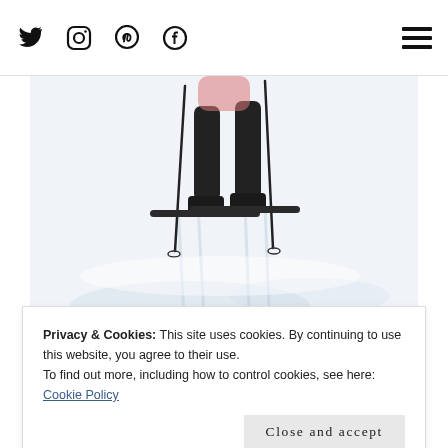Social media icons: Twitter, Instagram, Pinterest, Facebook; Hamburger menu
[Figure (photo): Close-up of a skier's legs and ski poles on snowy ground, shot from below the waist. The person wears dark ski pants and has ski poles planted in white snow. The photo is cropped to show only the lower body and snow.]
How do norwegians manage the long winters? Here
Privacy & Cookies: This site uses cookies. By continuing to use this website, you agree to their use. To find out more, including how to control cookies, see here: Cookie Policy
Close and accept
Scandinavian winter it is the absolute, mood-